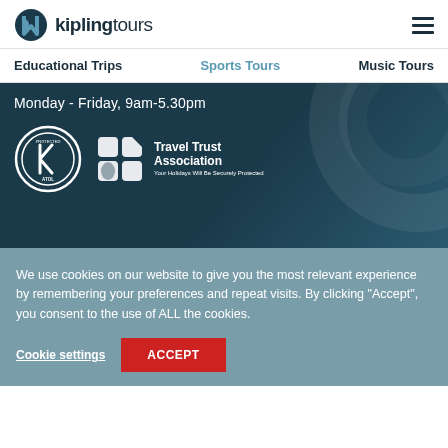[Figure (logo): Kipling Tours logo with circular K icon and text 'kiplingtours']
Educational Trips | Sports Tours | Music Tours
Monday - Friday, 9am-5.30pm
[Figure (logo): ATOL Protected circular badge logo and Travel Trust Association logo with squares and leaf icon]
We use cookies on our website to give you the most relevant experience by remembering your preferences and repeat visits. By clicking “Accept”, you consent to the use of ALL the cookies.
Cookie settings | ACCEPT